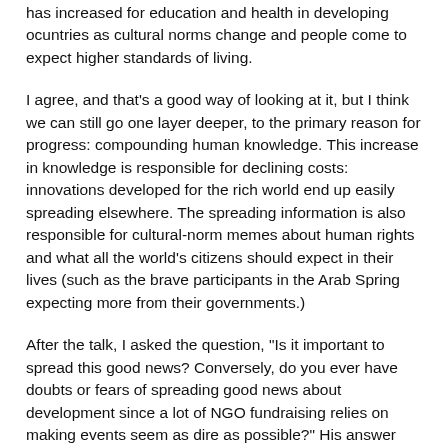has increased for education and health in developing ocuntries as cultural norms change and people come to expect higher standards of living.
I agree, and that's a good way of looking at it, but I think we can still go one layer deeper, to the primary reason for progress: compounding human knowledge. This increase in knowledge is responsible for declining costs: innovations developed for the rich world end up easily spreading elsewhere. The spreading information is also responsible for cultural-norm memes about human rights and what all the world's citizens should expect in their lives (such as the brave participants in the Arab Spring expecting more from their governments.)
After the talk, I asked the question, "Is it important to spread this good news? Conversely, do you ever have doubts or fears of spreading good news about development since a lot of NGO fundraising relies on making events seem as dire as possible?" His answer was great - he says that the current method of "crying crisis" each time money needs to be raised is going to prove less effective soon, since